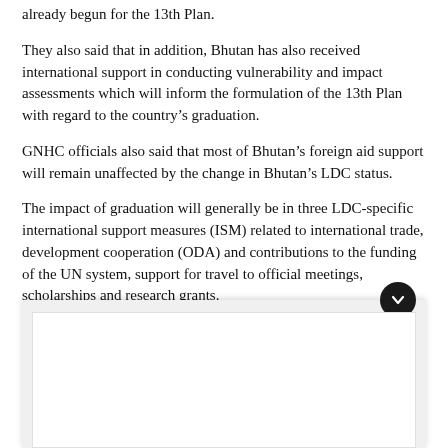already begun for the 13th Plan.
They also said that in addition, Bhutan has also received international support in conducting vulnerability and impact assessments which will inform the formulation of the 13th Plan with regard to the country's graduation.
GNHC officials also said that most of Bhutan's foreign aid support will remain unaffected by the change in Bhutan's LDC status.
The impact of graduation will generally be in three LDC-specific international support measures (ISM) related to international trade, development cooperation (ODA) and contributions to the funding of the UN system, support for travel to official meetings, scholarships and research grants.
[Figure (other): A collapsed card UI element with a dark circular chevron-down button at the top-right corner, showing a white content area below a grey header strip.]